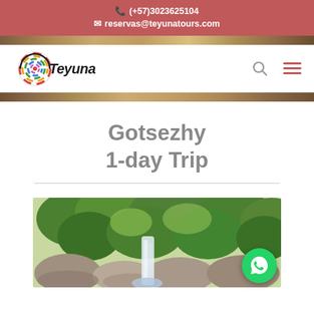(+57)3023625104 reservas@teyunatours.com
[Figure (logo): Teyuna Tours logo with colorful circular emblem and italic brand name]
Gotsezhy 1-day Trip
[Figure (photo): Nature/waterfall photo showing lush green vegetation, rocks, and a waterfall in a jungle setting]